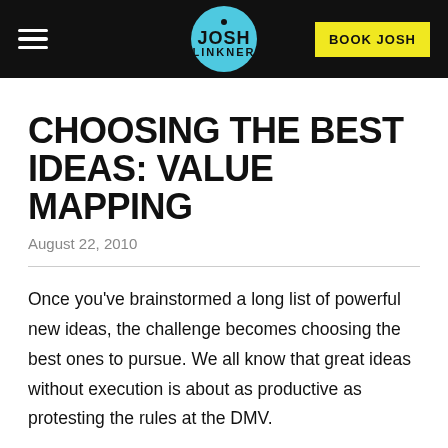JOSH LINKNER | BOOK JOSH
CHOOSING THE BEST IDEAS: VALUE MAPPING
August 22, 2010
Once you've brainstormed a long list of powerful new ideas, the challenge becomes choosing the best ones to pursue. We all know that great ideas without execution is about as productive as protesting the rules at the DMV.
One of my favorite techniques for idea selection is *Value Mapping*. In this case you are scoring each